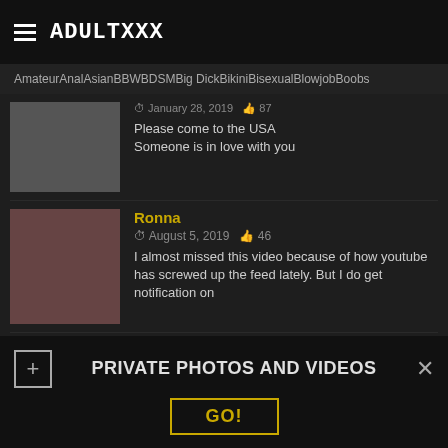ADULTXXX
Amateur  Anal  Asian  BBW  BDSM  Big Dick  Bikini  Bisexual  Blowjob  Boobs
Please come to the USA
Someone is in love with you
Ronna
August 5, 2019  46
I almost missed this video because of how youtube has screwed up the feed lately. But I do get notification on
Milhouse
February 23, 2019  37
Nice tan lines.
Dregrich
December 14, 2019  47
Dam I fuck the hell otta her
PRIVATE PHOTOS AND VIDEOS
GO!